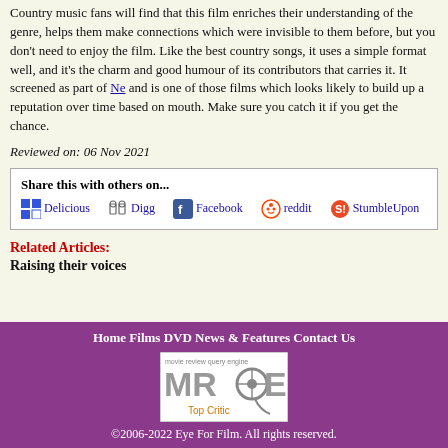Country music fans will find that this film enriches their understanding of the genre, helps them make connections which were invisible to them before, but you don't need to do that to enjoy the film. Like the best country songs, it uses a simple format well, and it's the natural charm and good humour of its contributors that carries it. It screened as part of Ne... and is one of those films which looks likely to build up a reputation over time based on word of mouth. Make sure you catch it if you get the chance.
Reviewed on: 06 Nov 2021
Share this with others on... Delicious Digg Facebook reddit StumbleUpon
Related Articles:
Raising their voices
Home Films DVD News & Features Contact Us | ©2006-2022 Eye For Film. All rights reserved.